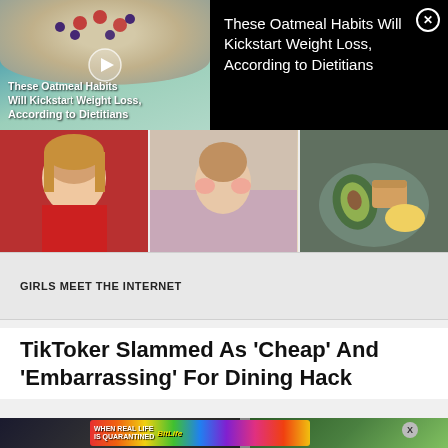[Figure (screenshot): Video thumbnail showing oatmeal bowl with raspberries and blueberries, with play button overlay and text 'These Oatmeal Habits Will Kickstart Weight Loss, According to Dietitians']
These Oatmeal Habits Will Kickstart Weight Loss, According to Dietitians
[Figure (photo): Three side-by-side photos: woman in red top eating, person in pink jacket making a face, plate with avocado and bread]
GIRLS MEET THE INTERNET
TikToker Slammed As 'Cheap' And 'Embarrassing' For Dining Hack
[Figure (screenshot): Bottom section showing article images with BitLife advertisement banner overlaid, featuring rainbow colors, emojis, and text 'WHEN REAL LIFE IS QUARANTINED' and 'BitLife']